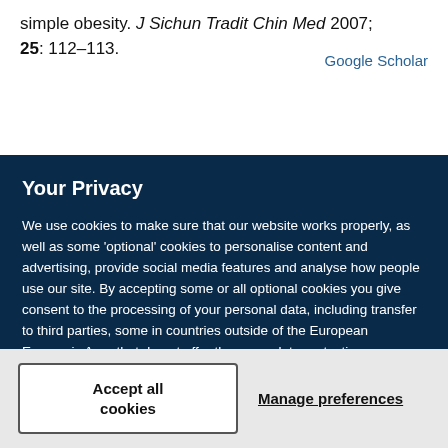simple obesity. J Sichun Tradit Chin Med 2007; 25: 112–113.
Google Scholar
Your Privacy
We use cookies to make sure that our website works properly, as well as some 'optional' cookies to personalise content and advertising, provide social media features and analyse how people use our site. By accepting some or all optional cookies you give consent to the processing of your personal data, including transfer to third parties, some in countries outside of the European Economic Area that do not offer the same data protection standards as the country where you live. You can decide which optional cookies to accept by clicking on 'Manage Settings', where you can also find more information about how your personal data is processed. Further information can be found in our privacy policy.
Accept all cookies
Manage preferences